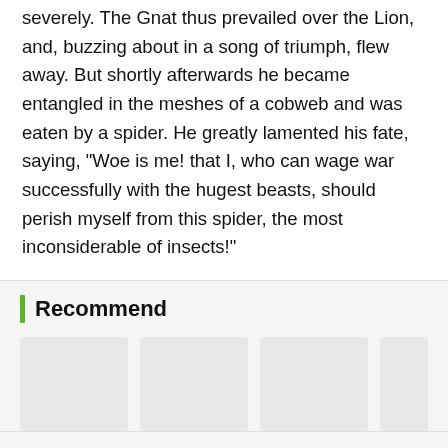severely. The Gnat thus prevailed over the Lion, and, buzzing about in a song of triumph, flew away. But shortly afterwards he became entangled in the meshes of a cobweb and was eaten by a spider. He greatly lamented his fate, saying, "Woe is me! that I, who can wage war successfully with the hugest beasts, should perish myself from this spider, the most inconsiderable of insects!"
Recommend
[Figure (illustration): Placeholder image for Helicopter flight simulation(mod)]
Helicopter flight simulation(mod)
[Figure (illustration): Placeholder image for Tower Defense]
Tower Defense
[Figure (illustration): Placeholder image for Cave Shooter]
Cave Shooter
[Figure (illustration): Placeholder image for word puzzle crosswords]
word puzzle crosswords